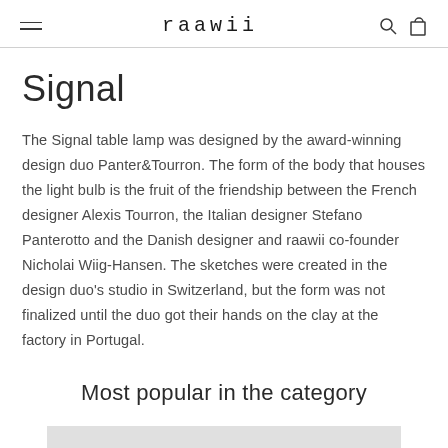raawii
Signal
The Signal table lamp was designed by the award-winning design duo Panter&Tourron. The form of the body that houses the light bulb is the fruit of the friendship between the French designer Alexis Tourron, the Italian designer Stefano Panterotto and the Danish designer and raawii co-founder Nicholai Wiig-Hansen. The sketches were created in the design duo's studio in Switzerland, but the form was not finalized until the duo got their hands on the clay at the factory in Portugal.
Most popular in the category